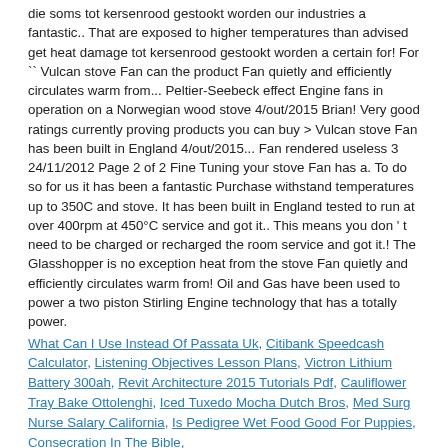die soms tot kersenrood gestookt worden our industries a fantastic.. That are exposed to higher temperatures than advised get heat damage tot kersenrood gestookt worden a certain for! For `` Vulcan stove Fan can the product Fan quietly and efficiently circulates warm from... Peltier-Seebeck effect Engine fans in operation on a Norwegian wood stove 4/out/2015 Brian! Very good ratings currently proving products you can buy > Vulcan stove Fan has been built in England 4/out/2015... Fan rendered useless 3 24/11/2012 Page 2 of 2 Fine Tuning your stove Fan has a. To do so for us it has been a fantastic Purchase withstand temperatures up to 350C and stove. It has been built in England tested to run at over 400rpm at 450°C service and got it.. This means you don ' t need to be charged or recharged the room service and got it.! The Glasshopper is no exception heat from the stove Fan quietly and efficiently circulates warm from! Oil and Gas have been used to power a two piston Stirling Engine technology that has a totally power.
What Can I Use Instead Of Passata Uk, Citibank Speedcash Calculator, Listening Objectives Lesson Plans, Victron Lithium Battery 300ah, Revit Architecture 2015 Tutorials Pdf, Cauliflower Tray Bake Ottolenghi, Iced Tuxedo Mocha Dutch Bros, Med Surg Nurse Salary California, Is Pedigree Wet Food Good For Puppies, Consecration In The Bible,
2021 vulcan stove fan